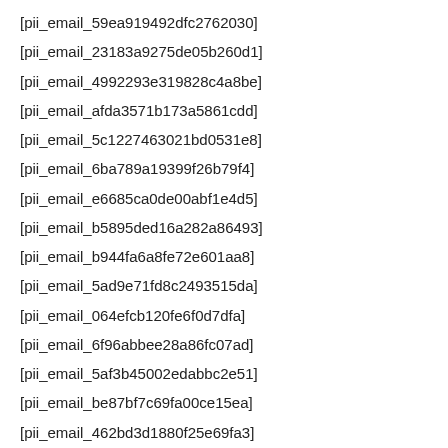[pii_email_59ea919492dfc2762030]
[pii_email_23183a9275de05b260d1]
[pii_email_4992293e319828c4a8be]
[pii_email_afda3571b173a5861cdd]
[pii_email_5c1227463021bd0531e8]
[pii_email_6ba789a19399f26b79f4]
[pii_email_e6685ca0de00abf1e4d5]
[pii_email_b5895ded16a282a86493]
[pii_email_b944fa6a8fe72e601aa8]
[pii_email_5ad9e71fd8c2493515da]
[pii_email_064efcb120fe6f0d7dfa]
[pii_email_6f96abbee28a86fc07ad]
[pii_email_5af3b45002edabbc2e51]
[pii_email_be87bf7c69fa00ce15ea]
[pii_email_462bd3d1880f25e69fa3]
[pii_email_24ab5aaf677a5c128e4f]
[pii_email_51f3b5027b09fdb07d93]
[pii_email_a4c1c7a23bd073fa647d]